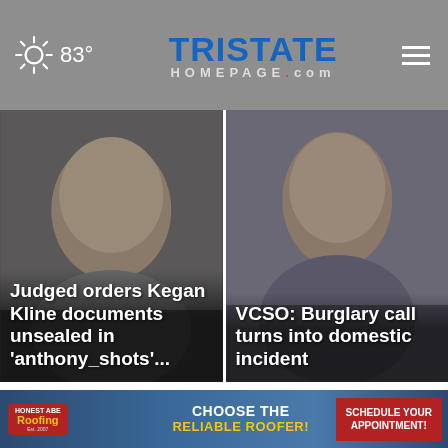83° — TriStateHomepage.com
[Figure (photo): Mugshot of Kegan Kline with headline overlay: Judged orders Kegan Kline documents unsealed in 'anthony_shots'...]
[Figure (photo): Mugshot of a man with headline overlay: VCSO: Burglary call turns into domestic incident]
Top Stories ›
[Figure (infographic): Advertisement for Honest Abe Roofing: CHOOSE THE RELIABLE ROOFER! SCHEDULE YOUR APPOINTMENT!]